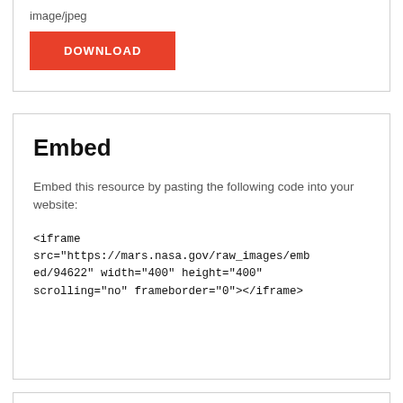image/jpeg
DOWNLOAD
Embed
Embed this resource by pasting the following code into your website:
<iframe src="https://mars.nasa.gov/raw_images/embed/94622" width="400" height="400" scrolling="no" frameborder="0"></iframe>
More Like This